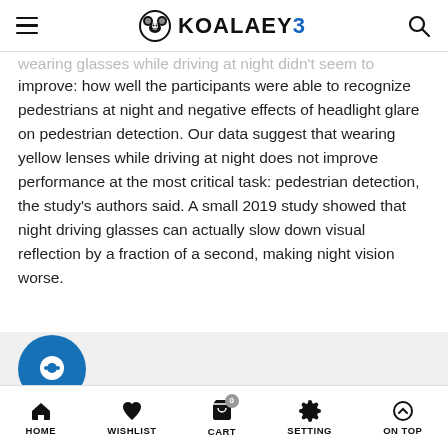KOALAEYE
wearing glasses while driving at night didn't seem to improve: how well the participants were able to recognize pedestrians at night and negative effects of headlight glare on pedestrian detection. Our data suggest that wearing yellow lenses while driving at night does not improve performance at the most critical task: pedestrian detection, the study's authors said. A small 2019 study showed that night driving glasses can actually slow down visual reflection by a fraction of a second, making night vision worse.
[Figure (other): Gray section with chat bubble icon and bottom navigation bar showing HOME, WISHLIST, CART, SETTING, ON TOP icons]